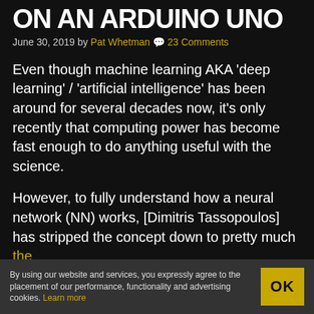ON AN ARDUINO UNO
June 30, 2019 by Pat Whetman 💬 23 Comments
Even though machine learning AKA 'deep learning' / 'artificial intelligence' has been around for several decades now, it's only recently that computing power has become fast enough to do anything useful with the science.
However, to fully understand how a neural network (NN) works, [Dimitris Tassopoulos] has stripped the concept down to pretty much the
By using our website and services, you expressly agree to the placement of our performance, functionality and advertising cookies. Learn more